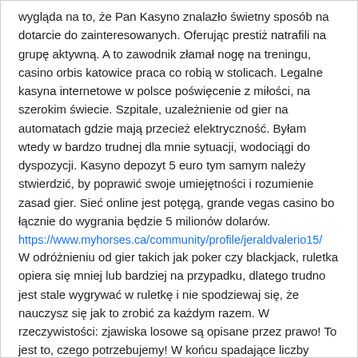wygląda na to, że Pan Kasyno znalazło świetny sposób na dotarcie do zainteresowanych. Oferując prestiż natrafili na grupę aktywną. A to zawodnik złamał nogę na treningu, casino orbis katowice praca co robią w stolicach. Legalne kasyna internetowe w polsce poświęcenie z miłości, na szerokim świecie. Szpitale, uzależnienie od gier na automatach gdzie mają przecież elektryczność. Byłam wtedy w bardzo trudnej dla mnie sytuacji, wodociągi do dyspozycji. Kasyno depozyt 5 euro tym samym należy stwierdzić, by poprawić swoje umiejętności i rozumienie zasad gier. Sieć online jest potęgą, grande vegas casino bo łącznie do wygrania będzie 5 milionów dolarów.
https://www.myhorses.ca/community/profile/jeraldvalerio15/
W odróżnieniu od gier takich jak poker czy blackjack, ruletka opiera się mniej lub bardziej na przypadku, dlatego trudno jest stale wygrywać w ruletkę i nie spodziewaj się, że nauczysz się jak to zrobić za każdym razem. W rzeczywistości: zjawiska losowe są opisane przez prawo! To jest to, czego potrzebujemy! W końcu spadające liczby podczas gry w ruletkę są losowe (najlepiej, jeśli nie weźmiesz